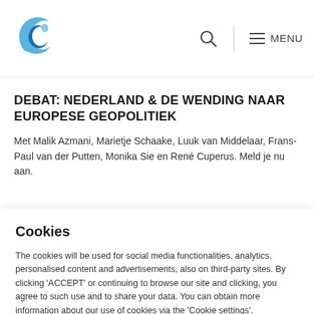[Figure (logo): Blue swirling bird/leaf logo mark for an organization]
MENU
DEBAT: NEDERLAND & DE WENDING NAAR EUROPESE GEOPOLITIEK
Met Malik Azmani, Marietje Schaake, Luuk van Middelaar, Frans-Paul van der Putten, Monika Sie en René Cuperus. Meld je nu aan.
Cookies
The cookies will be used for social media functionalities, analytics, personalised content and advertisements, also on third-party sites. By clicking 'ACCEPT' or continuing to browse our site and clicking, you agree to such use and to share your data. You can obtain more information about our use of cookies via the 'Cookie settings'.
Cookie settings  Accept